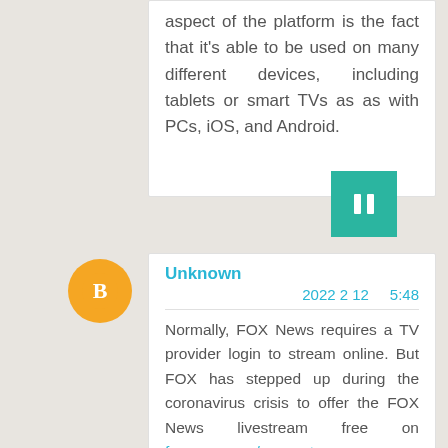aspect of the platform is the fact that it's able to be used on many different devices, including tablets or smart TVs as as with PCs, iOS, and Android.
[Figure (other): Teal/green square button with two vertical bar icons (pause symbol)]
[Figure (other): Orange circular avatar icon with white blogger 'B' logo]
Unknown
2022 2 12     5:48
Normally, FOX News requires a TV provider login to stream online. But FOX has stepped up during the coronavirus crisis to offer the FOX News livestream free on foxnews.com/connect